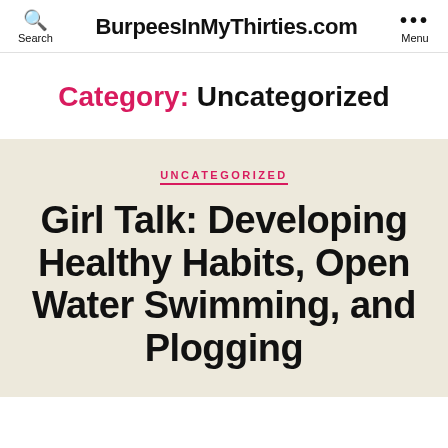BurpeesInMyThirties.com
Category: Uncategorized
UNCATEGORIZED
Girl Talk: Developing Healthy Habits, Open Water Swimming, and Plogging